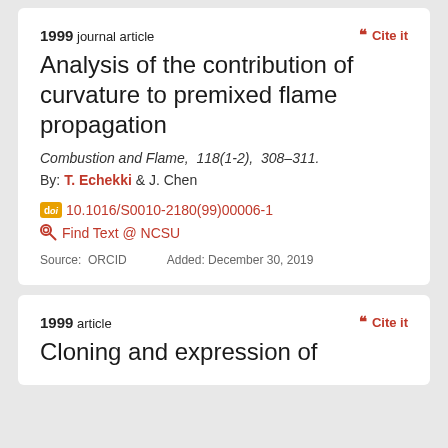1999 journal article
Cite it
Analysis of the contribution of curvature to premixed flame propagation
Combustion and Flame, 118(1-2), 308–311.
By: T. Echekki & J. Chen
10.1016/S0010-2180(99)00006-1
Find Text @ NCSU
Source: ORCID   Added: December 30, 2019
1999 article
Cite it
Cloning and expression of